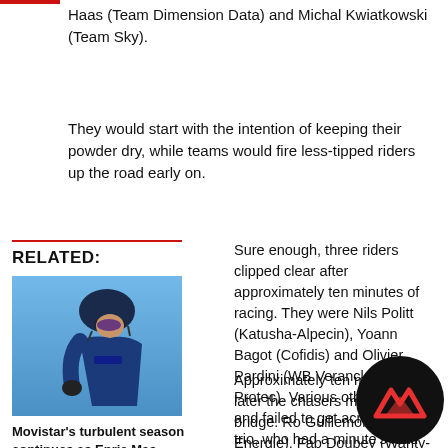Haas (Team Dimension Data) and Michal Kwiatkowski (Team Sky).
They would start with the intention of keeping their powder dry, while teams would fire less-tipped riders up the road early on.
RELATED:
[Figure (photo): Cyclist in blue and black kit, wearing helmet and sunglasses, against a blue sky background.]
Movistar's turbulent season continues as Enric Mas abandons the Dauphiné
READ MORE
Sure enough, three riders clipped clear after approximately ten minutes of racing. They were Nils Politt (Katusha-Alpecin), Yoann Bagot (Cofidis) and Olivier Pardini (WB Veranclassic Aqua Protec). Various others tried and failed to get across to the trio, who had a minute's lead after 16 kilometres.
Approximately ten minutes later the chasers managed to bridge. Ro Guillemois (Direct Energie), Fab Doubey (Wanty-Groupe Gobert) and